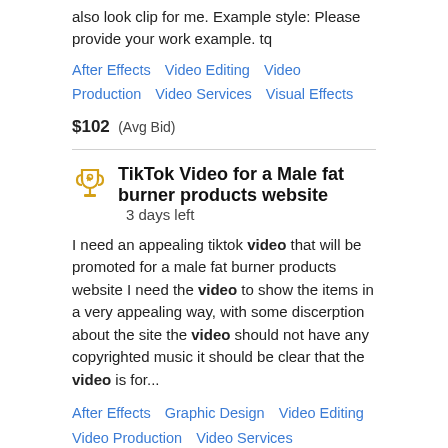also look clip for me. Example style: Please provide your work example. tq
After Effects   Video Editing   Video Production   Video Services   Visual Effects
$102  (Avg Bid)
TikTok Video for a Male fat burner products website  3 days left
I need an appealing tiktok video that will be promoted for a male fat burner products website I need the video to show the items in a very appealing way, with some discerption about the site the video should not have any copyrighted music it should be clear that the video is for...
After Effects   Graphic Design   Video Editing   Video Production   Video Services
$20  (Avg Bid)